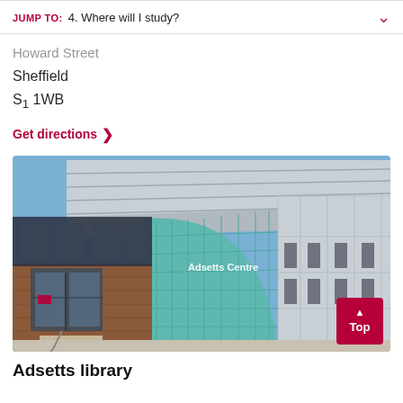JUMP TO: 4. Where will I study?
Howard Street
Sheffield
S1 1WB
Get directions ›
[Figure (photo): Exterior photograph of Adsetts Centre building at Sheffield Hallam University, showing a modern building with teal/green tiled curved facade and a brick entrance with steps, blue sky above.]
Adsetts library